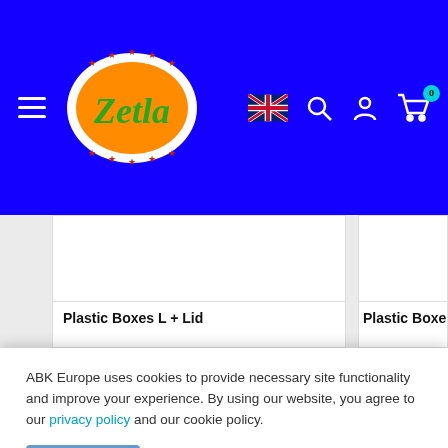Zetla - Navigation header with hamburger menu, Zetla logo, UK flag, search, account, and cart icons
[Figure (screenshot): Product card showing 'Plastic Boxes L + Lid' - white card with image area above and bold title below]
[Figure (screenshot): Product card showing 'Plastic Boxes M + Li...' - partially visible white card]
ABK Europe uses cookies to provide necessary site functionality and improve your experience. By using our website, you agree to our privacy policy and our cookie policy.
Accept